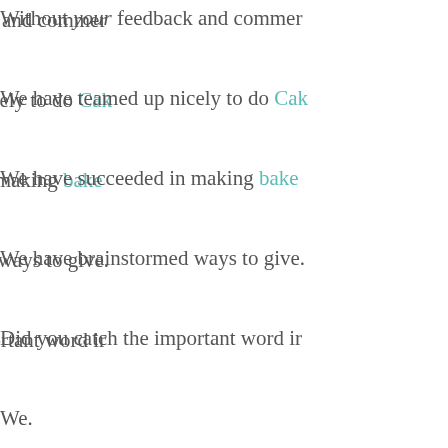Without your feedback and commer
We have teamed up nicely to do Cak
We have succeeded in making bake
We have brainstormed ways to give.
Did you catch the important word ir
We.
I would not be writing a book if it w
So, dear friends, it just doesn't seem
I want to include you and share secr person who just picks up a copy of t one up on a bookshelf!  It still seems
We have come this far.  Now lets tal
You may have noticed that my blog because I have been busy with  (hav treats a week like I used too.